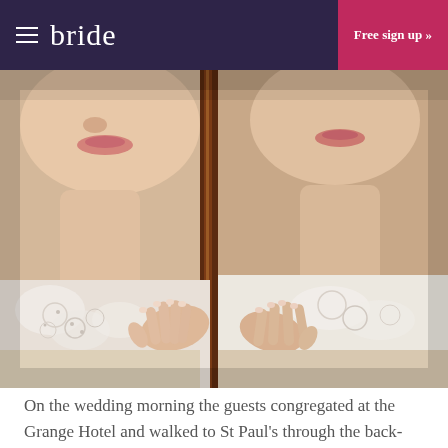bride   Free sign up »
[Figure (photo): A bride in a white lace wedding dress pressing her hands against a wooden-framed mirror, showing her reflection. Close-up of her face and hands from the chin down.]
On the wedding morning the guests congregated at the Grange Hotel and walked to St Paul's through the back-